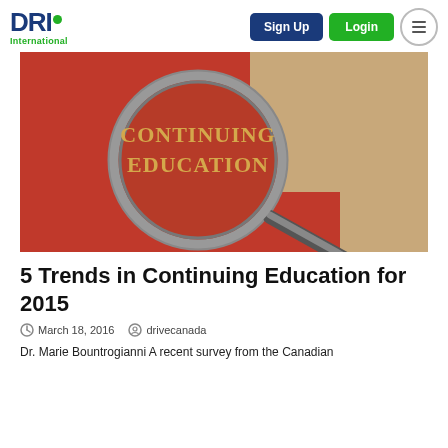DRI International — Sign Up | Login
[Figure (photo): A magnifying glass over a red background showing the words CONTINUING EDUCATION in gold text, on a tan/beige book cover]
5 Trends in Continuing Education for 2015
March 18, 2016   drivecanada
Dr. Marie Bountrogianni A recent survey from the Canadian